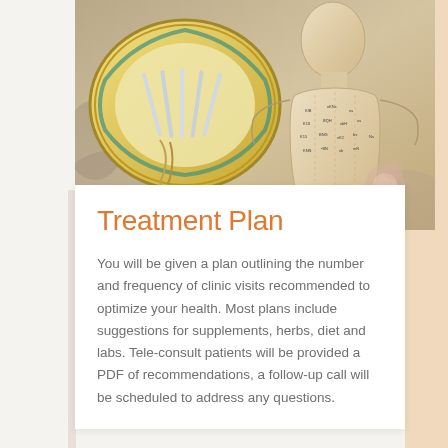[Figure (photo): Photo of acupuncture needles on a decorative Chinese plate and an acupuncture point mannequin/figure with labeled meridian points]
Treatment Plan
You will be given a plan outlining the number and frequency of clinic visits recommended to optimize your health. Most plans include suggestions for supplements, herbs, diet and labs. Tele-consult patients will be provided a PDF of recommendations, a follow-up call will be scheduled to address any questions.